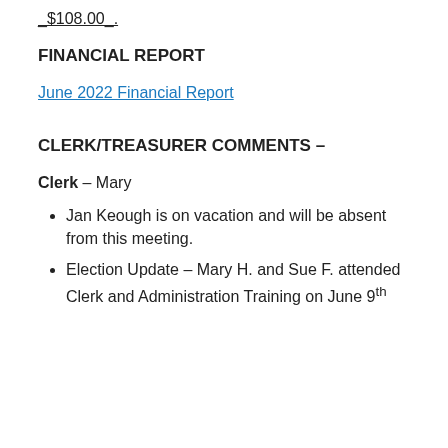_$108.00_.
FINANCIAL REPORT
June 2022 Financial Report
CLERK/TREASURER COMMENTS –
Clerk – Mary
Jan Keough is on vacation and will be absent from this meeting.
Election Update – Mary H. and Sue F. attended Clerk and Administration Training on June 9th